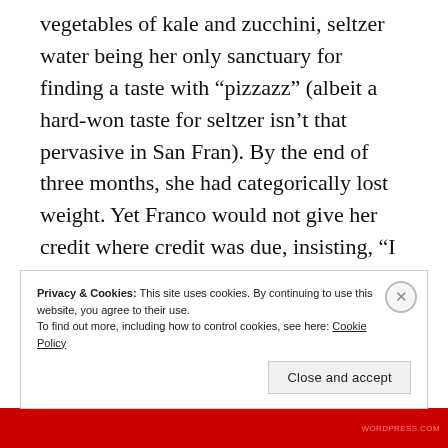vegetables of kale and zucchini, seltzer water being her only sanctuary for finding a taste with “pizzazz” (albeit a hard-won taste for seltzer isn’t that pervasive in San Fran). By the end of three months, she had categorically lost weight. Yet Franco would not give her credit where credit was due, insisting, “I really don’t see a difference. You might as well go back to making bolognese for both of us.”
Privacy & Cookies: This site uses cookies. By continuing to use this website, you agree to their use.
To find out more, including how to control cookies, see here: Cookie Policy